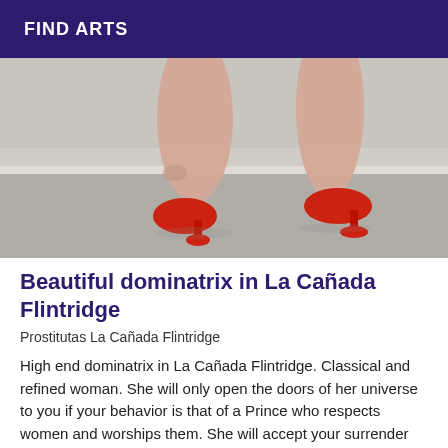FIND ARTS
[Figure (photo): Close-up photo of a woman's legs wearing red high heel platform shoes, walking on a sidewalk/steps outdoors.]
Beautiful dominatrix in La Cañada Flintridge
Prostitutas La Cañada Flintridge
High end dominatrix in La Cañada Flintridge. Classical and refined woman. She will only open the doors of her universe to you if your behavior is that of a Prince who respects women and worships them. She will accept your surrender only when your spirit has surrendered to